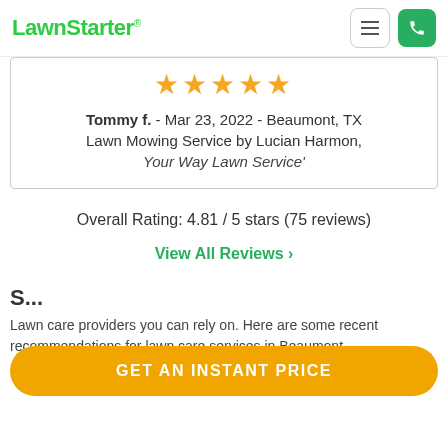LawnStarter®
★★★★★
Tommy f. - Mar 23, 2022 - Beaumont, TX
Lawn Mowing Service by Lucian Harmon,
Your Way Lawn Service'
Overall Rating: 4.81 / 5 stars (75 reviews)
View All Reviews >
S...
La... are some recent recommendations for lawn care services in Beaumont
GET AN INSTANT PRICE